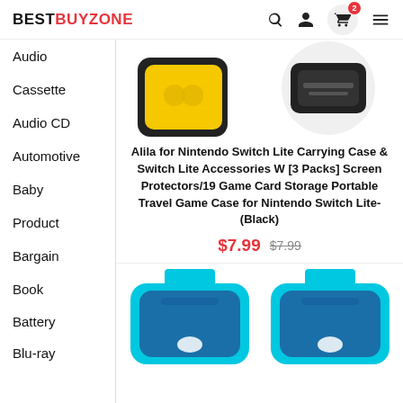BESTBUYZONE
Audio
Cassette
Audio CD
Automotive
Baby
Product
Bargain
Book
Battery
Blu-ray
[Figure (photo): Top portion of Nintendo Switch Lite carrying case products in yellow/black]
Alila for Nintendo Switch Lite Carrying Case & Switch Lite Accessories W [3 Packs] Screen Protectors/19 Game Card Storage Portable Travel Game Case for Nintendo Switch Lite-(Black)
$7.99  $7.99
[Figure (photo): Two blue screen protector accessories for smartphones shown at bottom of page]